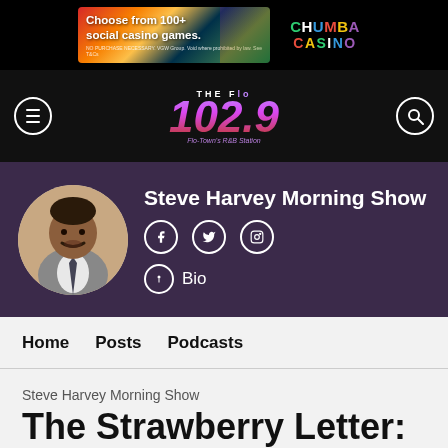[Figure (screenshot): Chumba Casino advertisement banner: colorful casino games on left, Chumba Casino logo on right. Text: 'Choose from 100+ social casino games. NO PURCHASE NECESSARY. VGW Group. Void where prohibited by law. See T&Cs']
[Figure (logo): The Flo 102.9 radio station logo - purple/pink gradient numerals with 'Flo-Town's R&B Station' tagline]
Steve Harvey Morning Show
Bio
Home
Posts
Podcasts
Steve Harvey Morning Show
The Strawberry Letter: The